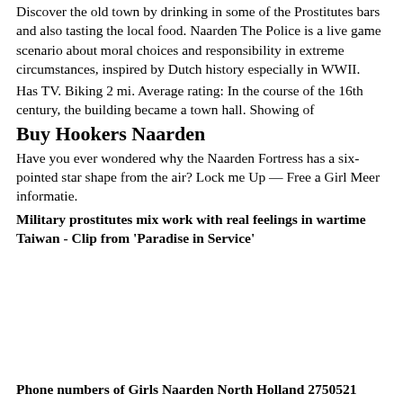Discover the old town by drinking in some of the Prostitutes bars and also tasting the local food. Naarden The Police is a live game scenario about moral choices and responsibility in extreme circumstances, inspired by Dutch history especially in WWII.
Has TV. Biking 2 mi. Average rating: In the course of the 16th century, the building became a town hall. Showing of
Buy Hookers Naarden
Have you ever wondered why the Naarden Fortress has a six-pointed star shape from the air? Lock me Up — Free a Girl Meer informatie.
Military prostitutes mix work with real feelings in wartime Taiwan - Clip from 'Paradise in Service'
Phone numbers of Girls Naarden North Holland 2750521
Discover his beautiful surroundings...